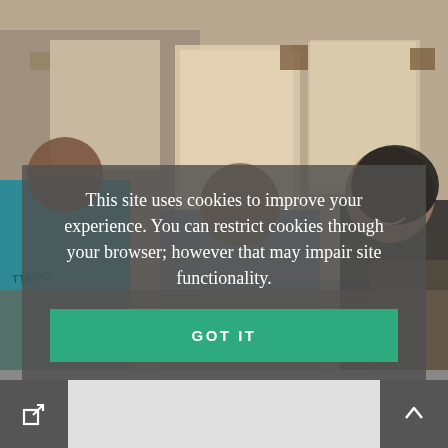[Figure (photo): Two people in a room with worn walls; one person in teal/blue clothing facing away, another smiling woman in dark clothing in the foreground, with room decor and furniture visible in the background.]
This site uses cookies to improve your experience. You can restrict cookies through your browser; however that may impair site functionality.
GOT IT